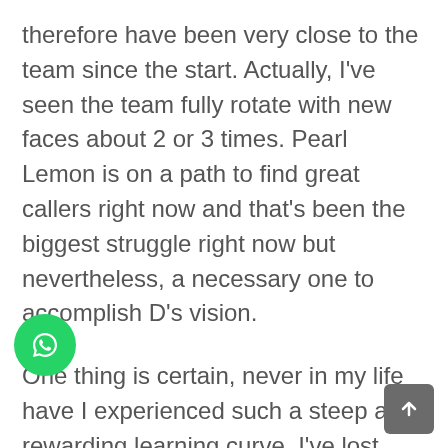therefore have been very close to the team since the start. Actually, I've seen the team fully rotate with new faces about 2 or 3 times. Pearl Lemon is on a path to find great callers right now and that's been the biggest struggle right now but nevertheless, a necessary one to accomplish D's vision.
One thing is certain, never in my life have I experienced such a steep and rewarding learning curve. I've lost count of the number of different skills and general know-how I've acquired just in the past 2.5 months. The most observable quality though is how much I've grown and evolved when I'm on the phone calling. I couldn't have done this without
[Figure (other): WhatsApp floating action button (green circle with phone handset icon)]
[Figure (other): Scroll-to-top button (grey rounded square with upward arrow)]